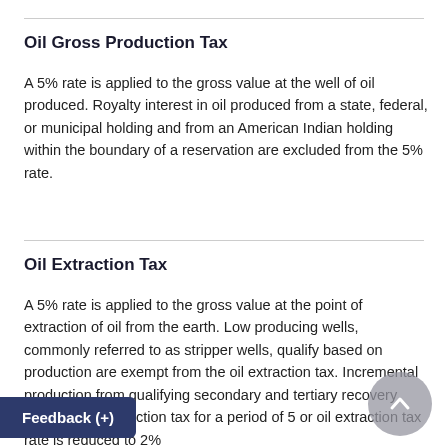Oil Gross Production Tax
A 5% rate is applied to the gross value at the well of oil produced. Royalty interest in oil produced from a state, federal, or municipal holding and from an American Indian holding within the boundary of a reservation are excluded from the 5% rate.
Oil Extraction Tax
A 5% rate is applied to the gross value at the point of extraction of oil from the earth. Low producing wells, commonly referred to as stripper wells, qualify based on production are exempt from the oil extraction tax. Incremental production from qualifying secondary and tertiary recovery wells are [exempt from the] oil extraction tax for a period of 5 or [more years; the] oil extraction tax rate is reduced to 2%